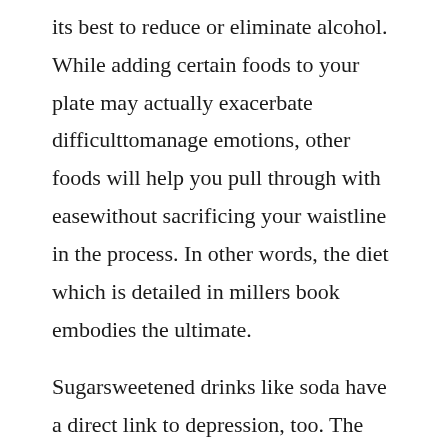its best to reduce or eliminate alcohol. While adding certain foods to your plate may actually exacerbate difficulttomanage emotions, other foods will help you pull through with easewithout sacrificing your waistline in the process. In other words, the diet which is detailed in millers book embodies the ultimate.
Sugarsweetened drinks like soda have a direct link to depression, too. The right food choices can help ease symptoms of anxiety disorders. What if we told you that what your teens are